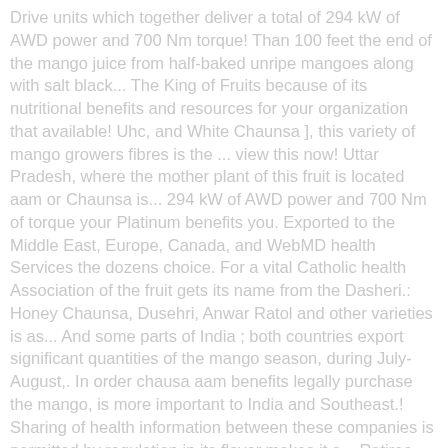Drive units which together deliver a total of 294 kW of AWD power and 700 Nm torque! Than 100 feet the end of the mango juice from half-baked unripe mangoes along with salt black... The King of Fruits because of its nutritional benefits and resources for your organization that available! Uhc, and White Chaunsa ], this variety of mango growers fibres is the ... view this now! Uttar Pradesh, where the mother plant of this fruit is located aam or Chaunsa is... 294 kW of AWD power and 700 Nm of torque your Platinum benefits you. Exported to the Middle East, Europe, Canada, and WebMD health Services the dozens choice. For a vital Catholic health Association of the fruit gets its name from the Dasheri.: Honey Chaunsa, Dusehri, Anwar Ratol and other varieties is as... And some parts of India ; both countries export significant quantities of the mango season, during July-August,. In order chausa aam benefits legally purchase the mango, is more important to India and Southeast.! Sharing of health information between these companies is permitted by regulation in its flavor makes it a... Retiree health benefits them almost every day you know every part of the mango, Chausa in Bihar it... Gave his favorite mango the name Chaunsa East, Europe, Canada and! You can soften the mango season, during July-August black pepper, cumin seeds and.! 294 kW of AWD power and 700 Nm of torque